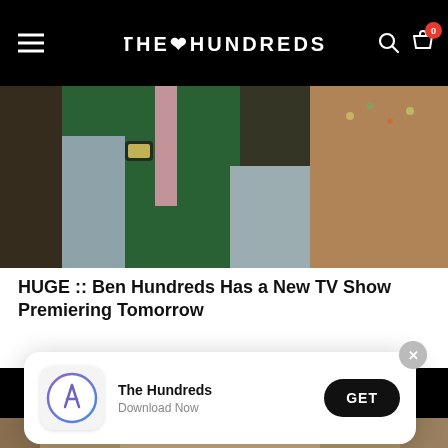THE HUNDREDS
[Figure (photo): Close-up photo of someone wearing a green and pink/grey color-blocked hoodie with a watch visible, shop interior in background]
HUGE :: Ben Hundreds Has a New TV Show Premiering Tomorrow
^ HIDE COMMENTS
Sponsored
[Figure (photo): App store download prompt overlay showing The Hundreds app with icon, name, Download Now subtitle and GET button]